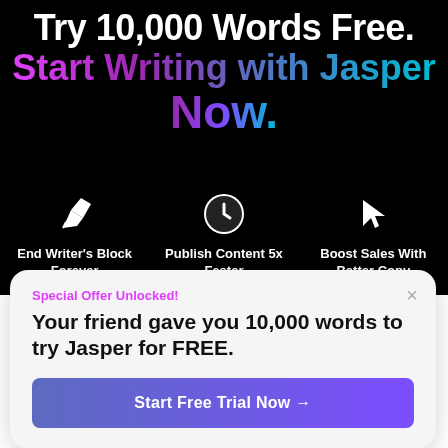Try 10,000 Words Free. Start Writing with Jasper Now.
[Figure (illustration): Pen/writing icon (white outline), white clock icon, white cursor arrow icon representing three feature columns]
End Writer's Block Forever
Publish Content 5x Faster
Boost Sales With Better Copy
Special Offer Unlocked!
Your friend gave you 10,000 words to try Jasper for FREE.
Start Free Trial Now →